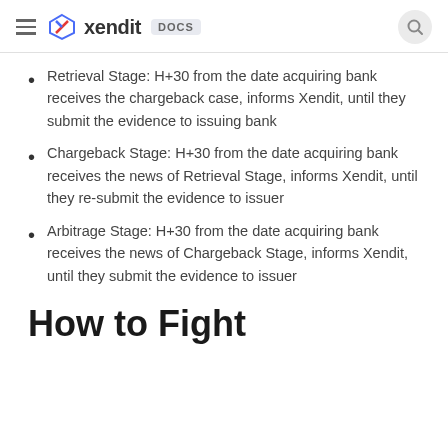xendit DOCS
Retrieval Stage: H+30 from the date acquiring bank receives the chargeback case, informs Xendit, until they submit the evidence to issuing bank
Chargeback Stage: H+30 from the date acquiring bank receives the news of Retrieval Stage, informs Xendit, until they re-submit the evidence to issuer
Arbitrage Stage: H+30 from the date acquiring bank receives the news of Chargeback Stage, informs Xendit, until they submit the evidence to issuer
How to Fight